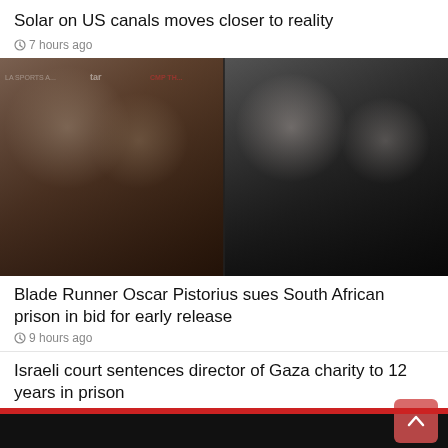Solar on US canals moves closer to reality
7 hours ago
[Figure (photo): Two side-by-side photos of Oscar Pistorius and Reeva Steenkamp at events: left photo shows them at a red carpet looking at each other, right photo shows them posing together at another event.]
Blade Runner Oscar Pistorius sues South African prison in bid for early release
9 hours ago
Israeli court sentences director of Gaza charity to 12 years in prison
11 hours ago